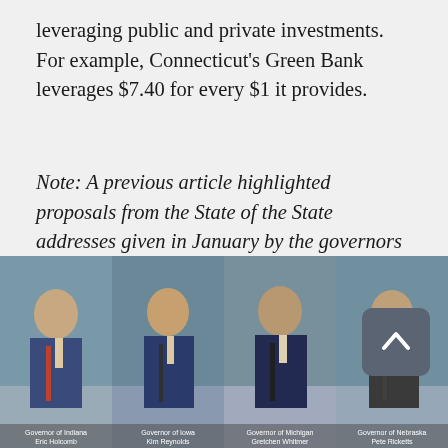leveraging public and private investments. For example, Connecticut's Green Bank leverages $7.40 for every $1 it provides.
Note: A previous article highlighted proposals from the State of the State addresses given in January by the governors of Indiana, Iowa, Kansas, Michigan, Nebraska and South Dakota. It can be accessed here.
[Figure (photo): Four photographs of governors arranged in a row at the bottom of the page, each with a caption overlay.]